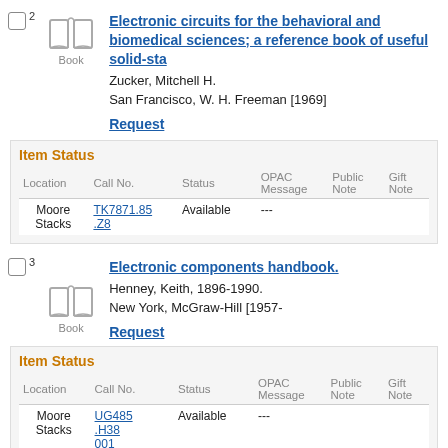2
Electronic circuits for the behavioral and biomedical sciences; a reference book of useful solid-sta
Zucker, Mitchell H.
San Francisco, W. H. Freeman [1969]
Request
Item Status
| Location | Call No. | Status | OPAC Message | Public Note | Gift Note |
| --- | --- | --- | --- | --- | --- |
| Moore Stacks | TK7871.85 .Z8 | Available | --- |  |  |
3
Electronic components handbook.
Henney, Keith, 1896-1990.
New York, McGraw-Hill [1957-
Request
Item Status
| Location | Call No. | Status | OPAC Message | Public Note | Gift Note |
| --- | --- | --- | --- | --- | --- |
| Moore Stacks | UG485 .H38 001 | Available | --- |  |  |
| Moore Stacks | UG485 .H38 | Available | --- |  |  |